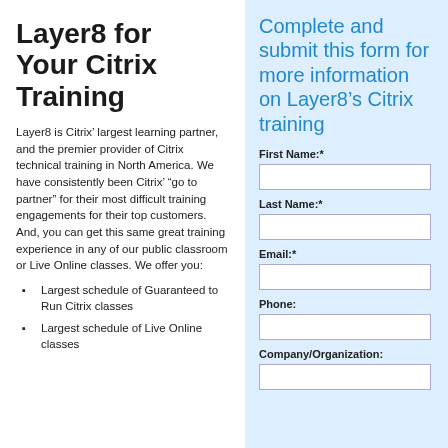Layer8 for Your Citrix Training
Layer8 is Citrix’ largest learning partner, and the premier provider of Citrix technical training in North America. We have consistently been Citrix’ “go to partner” for their most difficult training engagements for their top customers. And, you can get this same great training experience in any of our public classroom or Live Online classes. We offer you:
Largest schedule of Guaranteed to Run Citrix classes
Largest schedule of Live Online classes
Complete and submit this form for more information on Layer8’s Citrix training
First Name:*
Last Name:*
Email:*
Phone:
Company/Organization: